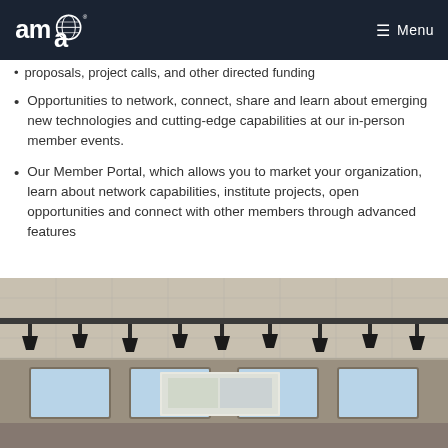AMMA logo and Menu navigation bar
proposals, project calls, and other directed funding
Opportunities to network, connect, share and learn about emerging new technologies and cutting-edge capabilities at our in-person member events.
Our Member Portal, which allows you to market your organization, learn about network capabilities, institute projects, open opportunities and connect with other members through advanced features
[Figure (photo): Interior photo of a conference room or auditorium showing ceiling with stage lighting rigs, windows along the back wall, and a projection screen]